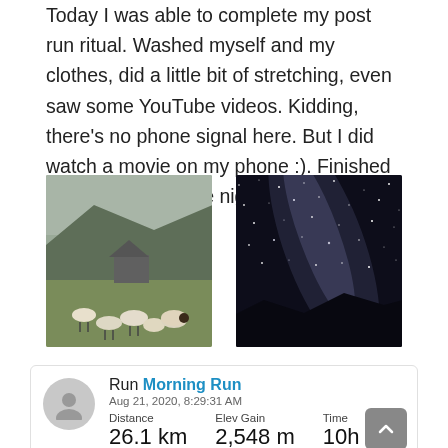Today I was able to complete my post run ritual. Washed myself and my clothes, did a little bit of stretching, even saw some YouTube videos. Kidding, there's no phone signal here. But I did watch a movie on my phone :). Finished the night with some night sky photography.
[Figure (photo): Misty mountain landscape with sheep grazing on green hillside and a stone structure in background]
[Figure (photo): Night sky photography showing the Milky Way galaxy with many stars visible against dark sky]
| Distance | Elev Gain | Time |
| --- | --- | --- |
| 26.1 km | 2,548 m | 10h 6m |